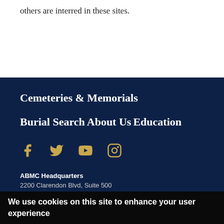others are interred in these sites.
Cemeteries & Memorials
Burial Search
About Us
Education
[Figure (illustration): Social media icons: Facebook, Twitter, YouTube, Instagram in gold/tan color]
ABMC Headquarters
2200 Clarendon Blvd, Suite 500
We use cookies on this site to enhance your user experience